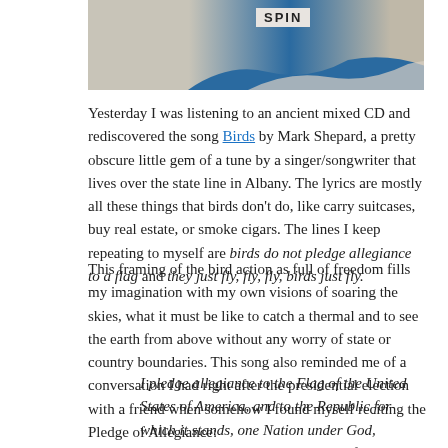[Figure (photo): Partial image of an album cover or magazine feature showing 'SPIN' label text, with wave-like shapes in blue and beige tones]
Yesterday I was listening to an ancient mixed CD and rediscovered the song Birds by Mark Shepard, a pretty obscure little gem of a tune by a singer/songwriter that lives over the state line in Albany. The lyrics are mostly all these things that birds don't do, like carry suitcases, buy real estate, or smoke cigars. The lines I keep repeating to myself are birds do not pledge allegiance to a flag and they just fly, fly, fly, birds just fly.
This framing of the bird action as full of freedom fills my imagination with my own visions of soaring the skies, what it must be like to catch a thermal and to see the earth from above without any worry of state or country boundaries. This song also reminded me of a conversation I had right after the presidential election with a friend when somehow I found myself reciting the Pledge of Allegiance:
I pledge allegiance to the Flag of the United States of America, and to the Republic for which it stands, one Nation under God, indivisible, with liberty and justice for all.